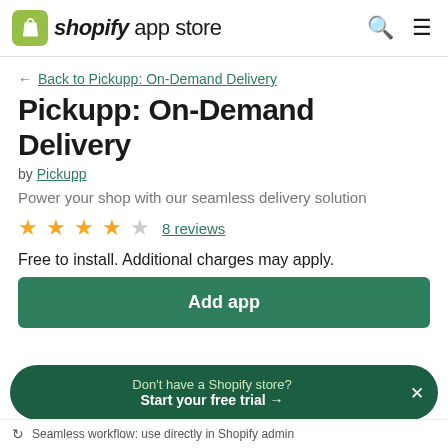shopify app store
← Back to Pickupp: On-Demand Delivery
Pickupp: On-Demand Delivery
by Pickupp
Power your shop with our seamless delivery solution
★★★★☆ 8 reviews
Free to install. Additional charges may apply.
Add app
Don't have a Shopify store? Start your free trial →
Seamless workflow: use directly in Shopify admin